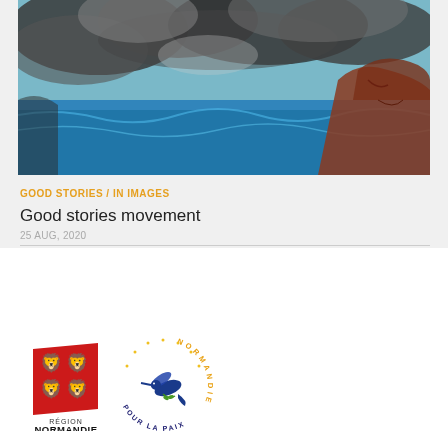[Figure (illustration): Painting of coastal seascape with dark stormy clouds, blue waves, and reddish-brown rocks]
GOOD STORIES / IN IMAGES
Good stories movement
25 AUG, 2020
[Figure (logo): Région Normandie logo with red heraldic flag and Normandie pour la Paix circular logo with hummingbird]